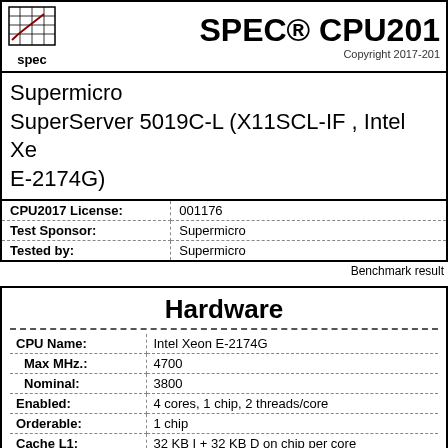SPEC® CPU201 Copyright 2017-201
Supermicro SuperServer 5019C-L (X11SCL-IF , Intel Xe E-2174G)
| Field | Value |
| --- | --- |
| CPU2017 License: | 001176 |
| Test Sponsor: | Supermicro |
| Tested by: | Supermicro |
Benchmark result
Hardware
| Field | Value |
| --- | --- |
| CPU Name: | Intel Xeon E-2174G |
| Max MHz.: | 4700 |
| Nominal: | 3800 |
| Enabled: | 4 cores, 1 chip, 2 threads/core |
| Orderable: | 1 chip |
| Cache L1: | 32 KB I + 32 KB D on chip per core |
| L2: | 256 KB I+D on chip per core |